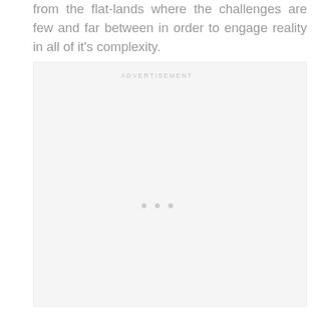from the flat-lands where the challenges are few and far between in order to engage reality in all of it's complexity.
[Figure (other): Advertisement placeholder box with 'ADVERTISEMENT' label and three loading dots centered in a light gray rectangle.]